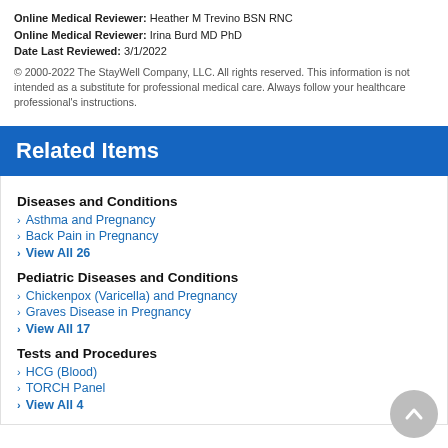Online Medical Reviewer: Heather M Trevino BSN RNC
Online Medical Reviewer: Irina Burd MD PhD
Date Last Reviewed: 3/1/2022
© 2000-2022 The StayWell Company, LLC. All rights reserved. This information is not intended as a substitute for professional medical care. Always follow your healthcare professional's instructions.
Related Items
Diseases and Conditions
Asthma and Pregnancy
Back Pain in Pregnancy
View All 26
Pediatric Diseases and Conditions
Chickenpox (Varicella) and Pregnancy
Graves Disease in Pregnancy
View All 17
Tests and Procedures
HCG (Blood)
TORCH Panel
View All 4